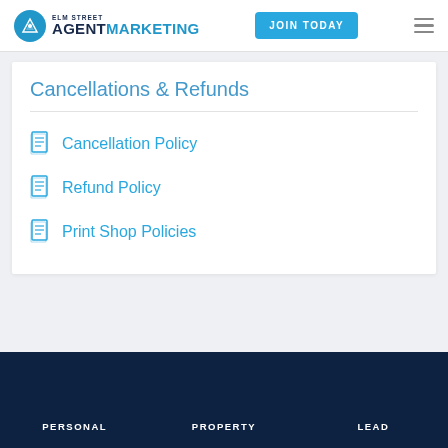ELM STREET AGENTMARKETING | JOIN TODAY
Cancellations & Refunds
Cancellation Policy
Refund Policy
Print Shop Policies
PERSONAL | PROPERTY | LEAD